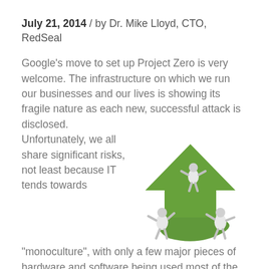July 21, 2014 / by Dr. Mike Lloyd, CTO, RedSeal
Google's move to set up Project Zero is very welcome.  The infrastructure on which we run our businesses and our lives is showing its fragile nature as each new, successful attack is disclosed.  Unfortunately, we all share significant risks, not least because IT tends towards “monoculture”, with only a few major pieces of hardware and software being used most of the time.  Organizations use
[Figure (illustration): Three 3D white figurines pushing up a large green arrow, symbolizing growth or upward momentum.]